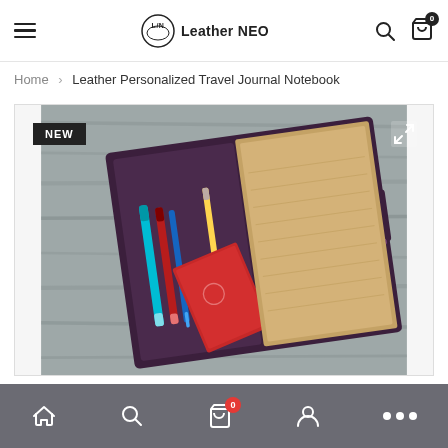Leather NEO — navigation header with hamburger menu, logo, search and cart icons
Home > Leather Personalized Travel Journal Notebook
[Figure (photo): Product photo of an open dark purple leather travel journal notebook on a weathered grey wood surface. The notebook has pockets containing two pens (teal and red), a pencil, and a red passport. A kraft-paper notebook insert is visible on the right. A button closure strap is on the right side. A black 'NEW' badge is in the top-left corner of the image.]
Mobile navigation bar with home, search, cart (0), account, and more icons